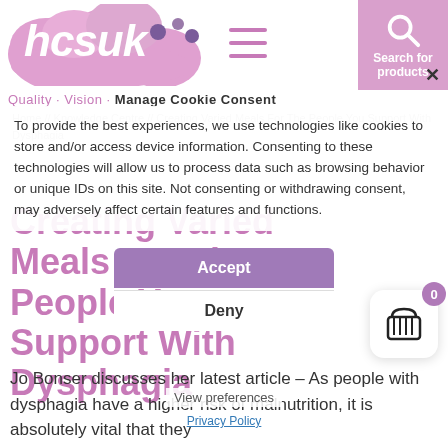[Figure (logo): hcsuk logo in pink cloud shape with purple dots]
Quality · Vision · Manage Cookie Consent
Home // Knowledge Centre // Creating Varied Meals For The People You Support With Dysphagia
To provide the best experiences, we use technologies like cookies to store and/or access device information. Consenting to these technologies will allow us to process data such as browsing behavior or unique IDs on this site. Not consenting or withdrawing consent, may adversely affect certain features and functions.
Creating Varied Meals For The People You Support With Dysphagia
Accept
Deny
View preferences
Privacy Policy
Jo Bonser discusses her latest article – As people with dysphagia have a higher risk of malnutrition, it is absolutely vital that they